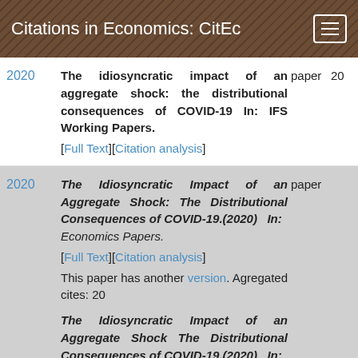Citations in Economics: CitEc
2020 | The idiosyncratic impact of an aggregate shock: the distributional consequences of COVID-19 In: IFS Working Papers. [Full Text][Citation analysis] | paper | 20
2020 | The Idiosyncratic Impact of an Aggregate Shock: The Distributional Consequences of COVID-19.(2020) In: Economics Papers. [Full Text][Citation analysis] This paper has another version. Agregated cites: 20 | paper
2020 | The Idiosyncratic Impact of an Aggregate Shock The Distributional Consequences of COVID-19.(2020) In: Economics Series Working...